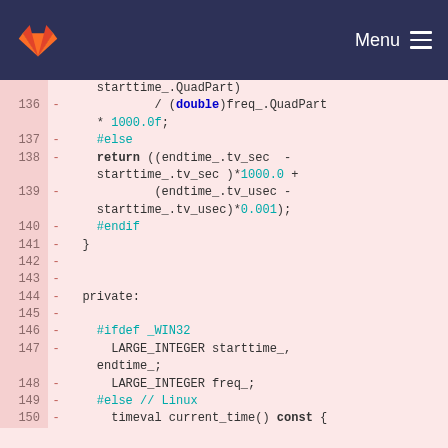[Figure (screenshot): GitLab navigation bar with orange fox logo on left and Menu hamburger icon on right, dark navy blue background]
Code diff view showing lines 136-150 of C++ source file with removed lines (marked with -) on pink background. Lines include: 136: / (double)freq_.QuadPart * 1000.0f; 137: #else 138: return ((endtime_.tv_sec - starttime_.tv_sec )*1000.0 + 139: (endtime_.tv_usec - starttime_.tv_usec)*0.001); 140: #endif 141: } 142: (empty) 143: (empty) 144: private: 145: (empty) 146: #ifdef _WIN32 147: LARGE_INTEGER starttime_, endtime_; 148: LARGE_INTEGER freq_; 149: #else // Linux 150: timeval current_time() const {